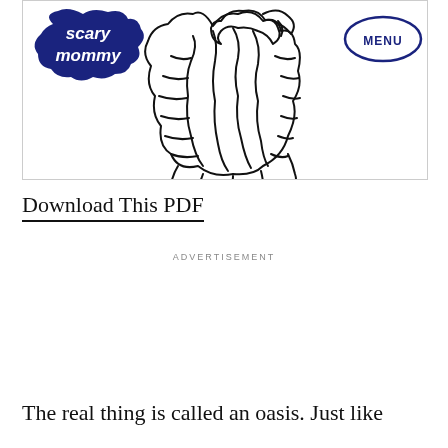[Figure (screenshot): Scary Mommy website header screenshot showing the Scary Mommy logo in dark navy blue on the left, a MENU button in an oval on the right, and a black and white line art illustration of a bear or large animal in the center.]
Download This PDF
ADVERTISEMENT
The real thing is called an oasis. Just like